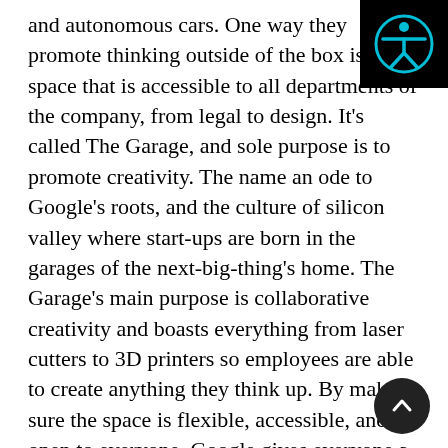and autonomous cars. One way they promote thinking outside of the box is a space that is accessible to all departments of the company, from legal to design. It's called The Garage, and sole purpose is to promote creativity. The name an ode to Google's roots, and the culture of silicon valley where start-ups are born in the garages of the next-big-thing's home. The Garage's main purpose is collaborative creativity and boasts everything from laser cutters to 3D printers so employees are able to create anything they think up. By making sure the space is flexible, accessible, and open to everyone, Google gives everyone a chance to contribute. In a sense it is an adult's playground where teamwork leads to productivity.
[Figure (other): Accessibility icon button in top-right corner — dark background with teal/cyan human figure accessibility symbol]
While creativity and innovation can't be taught, they can be given the chance to flourish. By creating an office with an environment that
[Figure (other): Scroll-to-top button — dark circular button with upward chevron arrow, bottom-right corner]